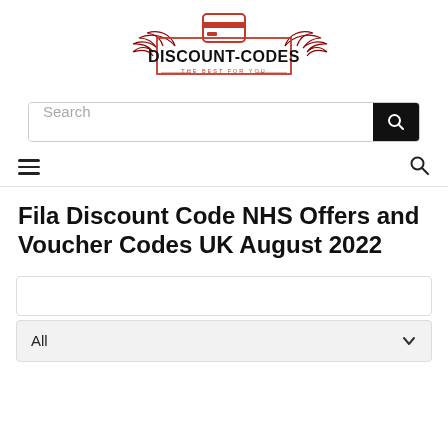[Figure (logo): Discount-Codes logo: red wings and credit card icon above a red-bordered rectangle containing bold text DISCOUNT-CODES and subtitle THE BEST FOR YOU]
[Figure (screenshot): Search bar with placeholder text Search and a black search button icon on the right]
[Figure (screenshot): Navigation bar with hamburger menu icon on the left and search icon on the right]
Fila Discount Code NHS Offers and Voucher Codes UK August 2022
[Figure (other): Empty white filter/input box with border]
[Figure (other): Dropdown selector showing All with chevron down arrow, light grey background]